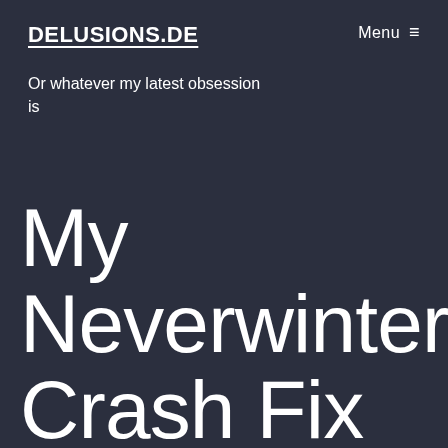DELUSIONS.DE
Menu ≡
Or whatever my latest obsession is
My Neverwinter Crash Fix